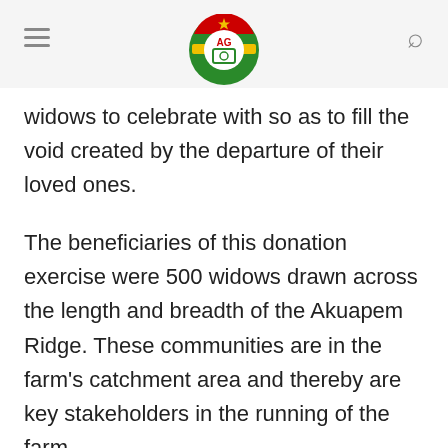[Logo: AG / Akro-Farms Ghana] [hamburger menu] [search icon]
widows to celebrate with so as to fill the void created by the departure of their loved ones.
The beneficiaries of this donation exercise were 500 widows drawn across the length and breadth of the Akuapem Ridge. These communities are in the farm’s catchment area and thereby are key stakeholders in the running of the farm.
The CEO of Akro-Farms, Ms. Salomey Gyamfi, mentioned that; “In sharing these eggs, Akro-Farms aims to also encourage the